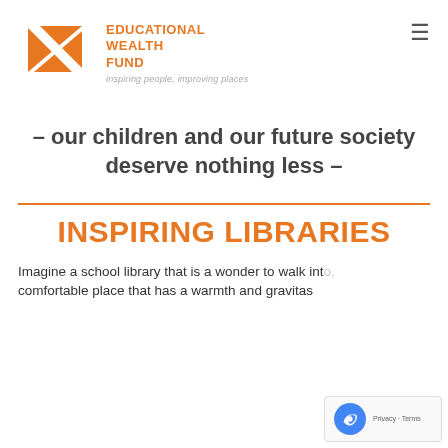EDUCATIONAL WEALTH FUND — inspiring people, improving places
– our children and our future society deserve nothing less –
INSPIRING LIBRARIES
Imagine a school library that is a wonder to walk into, a comfortable place that has a warmth and gravitas